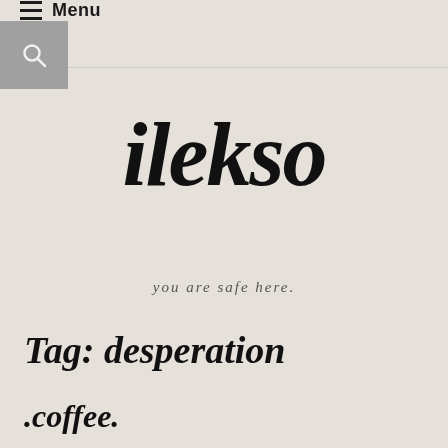Menu
ilekso
you are safe here.
Tag: desperation
.coffee.